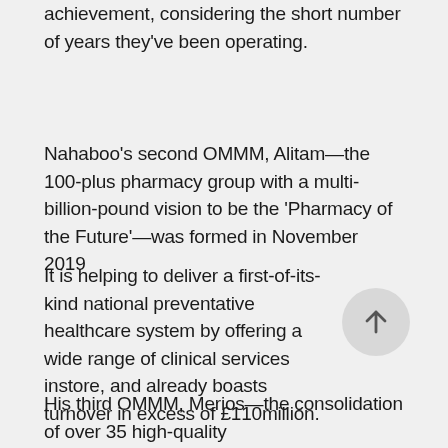achievement, considering the short number of years they've been operating.
Nahaboo's second OMMM, Alitam—the 100-plus pharmacy group with a multi-billion-pound vision to be the 'Pharmacy of the Future'—was formed in November 2019
It is helping to deliver a first-of-its-kind national preventative healthcare system by offering a wide range of clinical services instore, and already boasts turnover in excess of £110million.
His third OMMM, Merios—the consolidation of over 35 high-quality